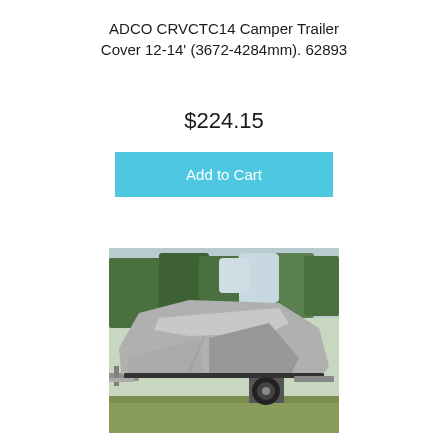ADCO CRVCTC14 Camper Trailer Cover 12-14' (3672-4284mm). 62893
$224.15
Add to Cart
[Figure (photo): A grey camper trailer cover stretched over a folded camper trailer on a metal frame, parked outdoors on grass with trees in the background.]